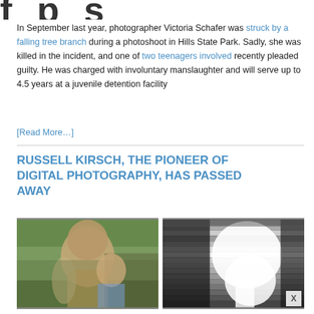f p s
In September last year, photographer Victoria Schafer was struck by a falling tree branch during a photoshoot in Hills State Park. Sadly, she was killed in the incident, and one of two teenagers involved recently pleaded guilty. He was charged with involuntary manslaughter and will serve up to 4.5 years at a juvenile detention facility
[Read More…]
RUSSELL KIRSCH, THE PIONEER OF DIGITAL PHOTOGRAPHY, HAS PASSED AWAY
[Figure (photo): Photo of an elderly man with a young child, appearing to look at something together indoors]
[Figure (photo): Black and white early digital photograph showing a profile silhouette of a head]